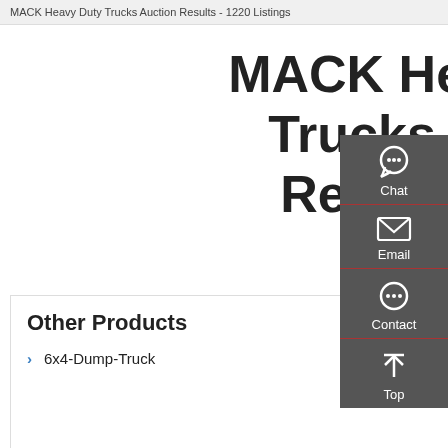MACK Heavy Duty Trucks Auction Results - 1220 Listings
MACK Heavy Duty Trucks Auction Results - 1220 Listings
Other Products
6x4-Dump-Truck